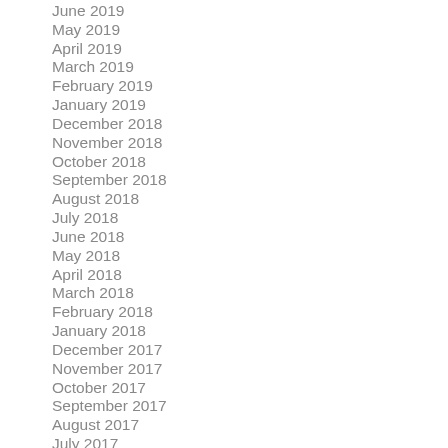June 2019
May 2019
April 2019
March 2019
February 2019
January 2019
December 2018
November 2018
October 2018
September 2018
August 2018
July 2018
June 2018
May 2018
April 2018
March 2018
February 2018
January 2018
December 2017
November 2017
October 2017
September 2017
August 2017
July 2017
June 2017
May 2017
April 2017
March 2017
February 2017
January 2017